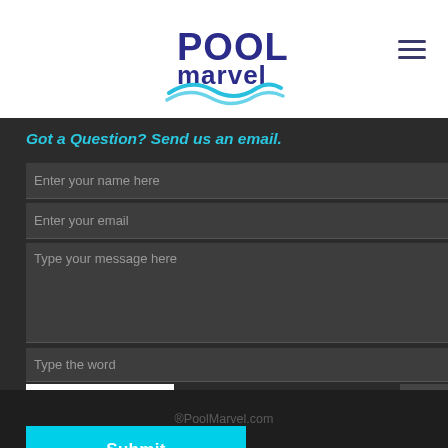[Figure (logo): Pool Marvel logo with blue wave and text]
Got a Question? Send us an email.
Enter your name here
Enter your email
Type your message here
Type the word
[Figure (other): CAPTCHA image showing text: 5 RAW]
Submit
®PoolMarvel.com